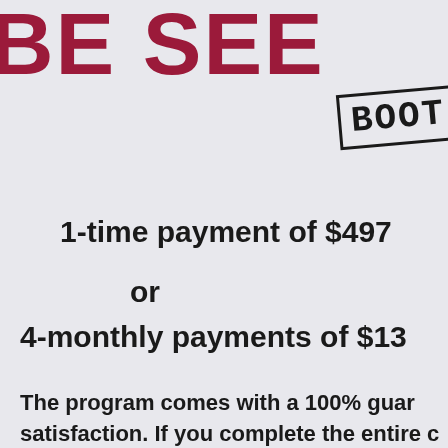BE SEE
[Figure (other): Stamp graphic with text BOOT partially visible, black border, rotated slightly]
1-time payment of $497
or
4-monthly payments of $13
The program comes with a 100% guar satisfaction. If you complete the entire c the entire downloadable workbook, wit